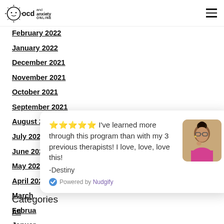OCD and Anxiety Online — navigation header with logo and hamburger menu
February 2022
January 2022
December 2021
November 2021
October 2021
September 2021
August 2021
July 2021
June 2021
May 2021
April 2021
March
Februa
Januar
Decem
[Figure (other): Testimonial popup widget: star rating, quote 'I've learned more through this program than with my 3 previous therapists! I love, love, love this! -Destiny', Powered by Nudgify, with photo of a woman with glasses]
Categories
All